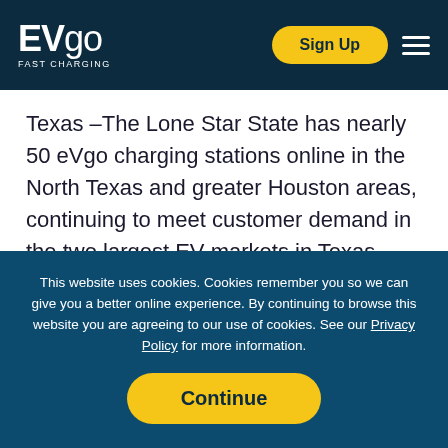EVgo FAST CHARGING
Texas –The Lone Star State has nearly 50 eVgo charging stations online in the North Texas and greater Houston areas, continuing to meet customer demand in the two largest EV markets in Texas.
Atlanta – Atlanta is one of the fastest
This website uses cookies. Cookies remember you so we can give you a better online experience. By continuing to browse this website you are agreeing to our use of cookies. See our Privacy Policy for more information.